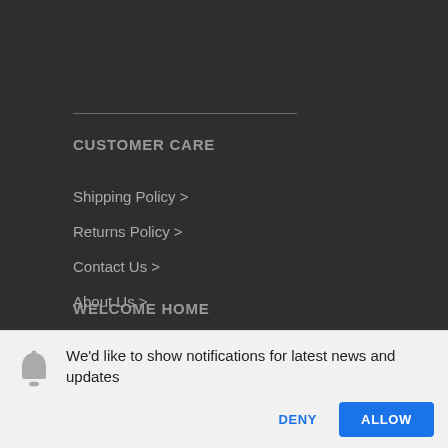CUSTOMER CARE
Shipping Policy >
Returns Policy >
Contact Us >
About Us >
WELCOME HOME
We'd like to show notifications for latest news and updates
DENY
ALLOW